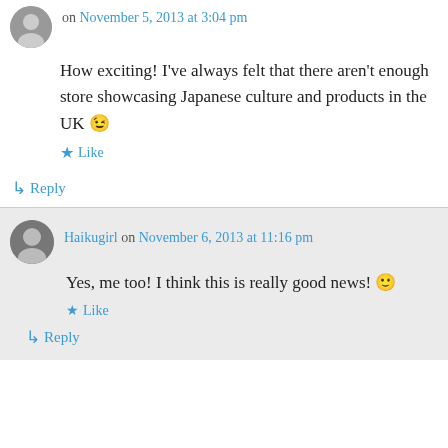on November 5, 2013 at 3:04 pm
How exciting! I've always felt that there aren't enough store showcasing Japanese culture and products in the UK 😉
★ Like
↳ Reply
Haikugirl on November 6, 2013 at 11:16 pm
Yes, me too! I think this is really good news! 🙂
★ Like
↳ Reply